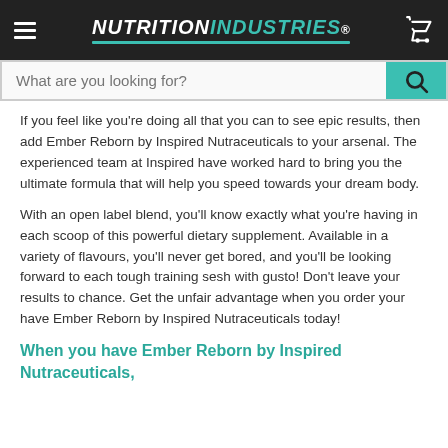NUTRITION INDUSTRIES
If you feel like you’re doing all that you can to see epic results, then add Ember Reborn by Inspired Nutraceuticals to your arsenal. The experienced team at Inspired have worked hard to bring you the ultimate formula that will help you speed towards your dream body.
With an open label blend, you’ll know exactly what you’re having in each scoop of this powerful dietary supplement. Available in a variety of flavours, you'll never get bored, and you’ll be looking forward to each tough training sesh with gusto! Don’t leave your results to chance. Get the unfair advantage when you order your have Ember Reborn by Inspired Nutraceuticals today!
When you have Ember Reborn by Inspired Nutraceuticals,